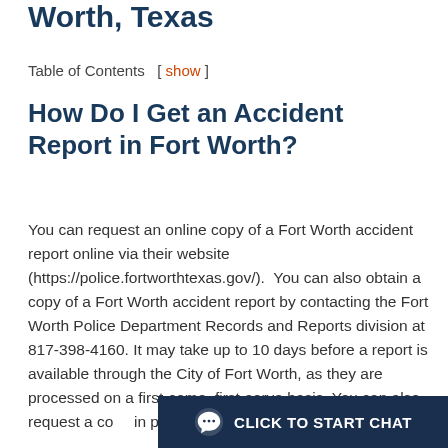Worth, Texas
Table of Contents  [ show ]
How Do I Get an Accident Report in Fort Worth?
You can request an online copy of a Fort Worth accident report online via their website (https://police.fortworthtexas.gov/).  You can also obtain a copy of a Fort Worth accident report by contacting the Fort Worth Police Department Records and Reports division at 817-398-4160. It may take up to 10 days before a report is available through the City of Fort Worth, as they are processed on a first-come, first-serve basis. You can also request a co... in person at 100...
[Figure (other): CLICK TO START CHAT button with speech bubble icon, dark navy background]